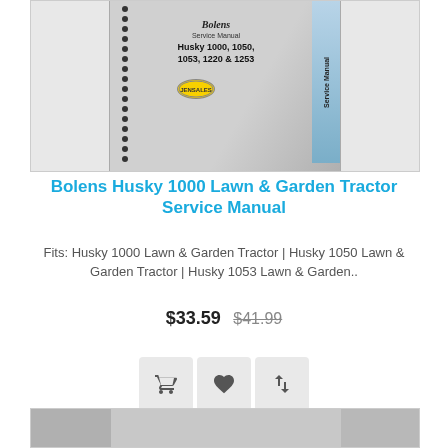[Figure (photo): Bolens Service Manual cover for Husky 1000, 1050, 1053, 1220 & 1253 lawn and garden tractors, spiral-bound with blue spine reading 'Service Manual']
Bolens Husky 1000 Lawn & Garden Tractor Service Manual
Fits: Husky 1000 Lawn & Garden Tractor | Husky 1050 Lawn & Garden Tractor | Husky 1053 Lawn & Garden..
$33.59  $41.99
[Figure (illustration): Three icon buttons: shopping cart, heart (wishlist), and compare arrows]
[Figure (photo): Partial view of another product's manual cover at the bottom of the page]